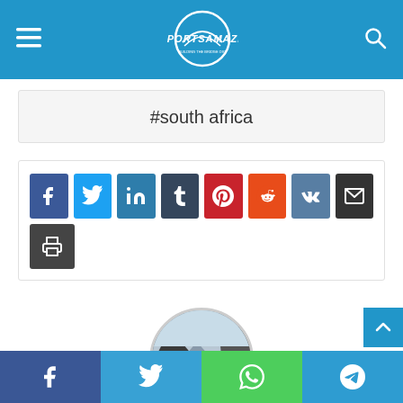SportsAmaze — navigation header with hamburger menu, logo, and search icon
#south africa
[Figure (infographic): Social media share buttons: Facebook, Twitter, LinkedIn, Tumblr, Pinterest, Reddit, VK, Email, Print]
[Figure (photo): Circular profile photo of a person hiking on a rocky mountain trail]
Bottom bar with Facebook, Twitter, WhatsApp, Telegram share buttons